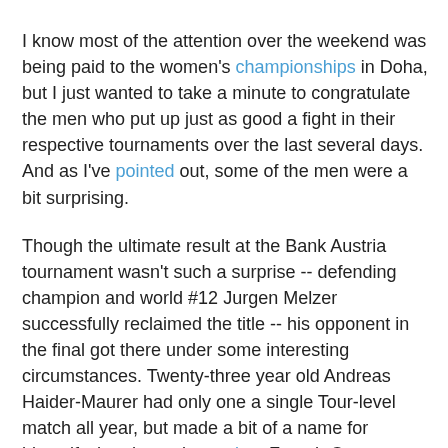I know most of the attention over the weekend was being paid to the women's championships in Doha, but I just wanted to take a minute to congratulate the men who put up just as good a fight in their respective tournaments over the last several days. And as I've pointed out, some of the men were a bit surprising.
Though the ultimate result at the Bank Austria tournament wasn't such a surprise -- defending champion and world #12 Jurgen Melzer successfully reclaimed the title -- his opponent in the final got there under some interesting circumstances. Twenty-three year old Andreas Haider-Maurer had only one a single Tour-level match all year, but made a bit of a name for himself when he took two-time French Open finalist Robin Soderling to five sets in New York. Still, ranked only 157th in the world, he had to fight through the qualifying rounds and then wait for Ernests Gulbis to pull out of the main draw before earning entrée -- he'd actually retired from his last match in the qualies against Marsel Ilhan.